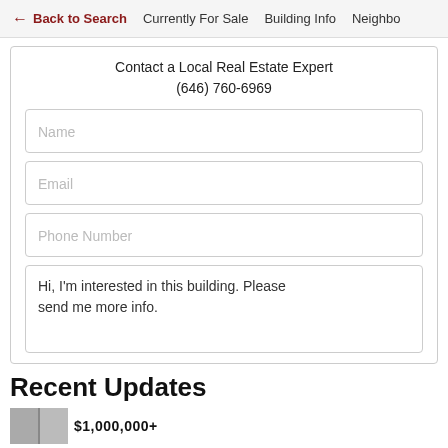← Back to Search   Currently For Sale   Building Info   Neighbo
Contact a Local Real Estate Expert
(646) 760-6969
Name
Email
Phone Number
Hi, I'm interested in this building. Please send me more info.
Recent Updates